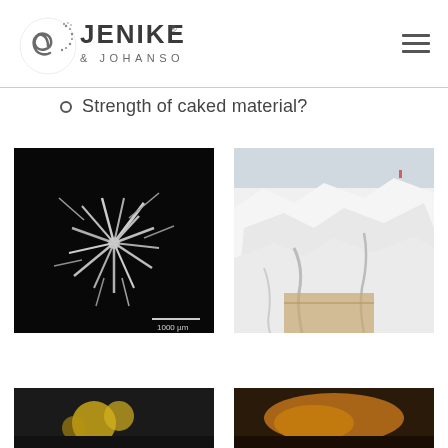Jenike & Johanson logo and navigation
Strength of caked material?
[Figure (photo): Microscopy image of crystalline particles on black background with 1000 µm scale bar]
[Figure (photo): Photo of large caked/hardened white powder/material with cardboard packaging visible]
[Figure (photo): Partial bottom-left photo (cropped)]
[Figure (photo): Partial bottom-right photo (cropped)]